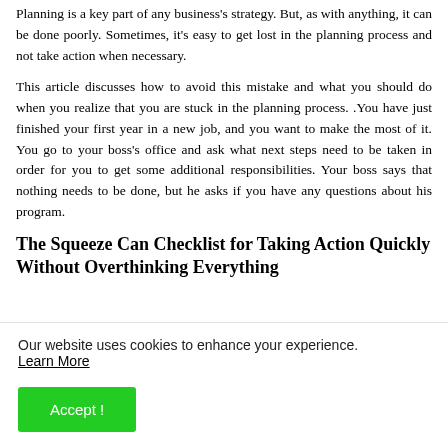Planning is a key part of any business's strategy. But, as with anything, it can be done poorly. Sometimes, it's easy to get lost in the planning process and not take action when necessary.
This article discusses how to avoid this mistake and what you should do when you realize that you are stuck in the planning process. .You have just finished your first year in a new job, and you want to make the most of it. You go to your boss's office and ask what next steps need to be taken in order for you to get some additional responsibilities. Your boss says that nothing needs to be done, but he asks if you have any questions about his program.
The Squeeze Can Checklist for Taking Action Quickly Without Overthinking Everything
Our website uses cookies to enhance your experience. Learn More
Accept !